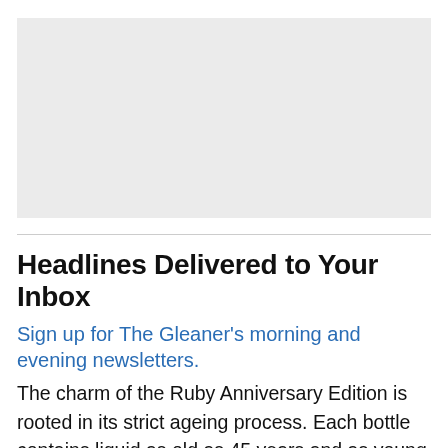[Figure (photo): Gray placeholder image area at top of page]
Headlines Delivered to Your Inbox
Sign up for The Gleaner's morning and evening newsletters.
The charm of the Ruby Anniversary Edition is rooted in its strict ageing process. Each bottle contains liquid as old as 45 years and as young as 35 – a luxurious time capsule to highlight the flavour of decades in the tropics. Due to Jamaica's climate, Appleton Estate rums age nearly three times more quickly than spirits aged in cooler climates, allowing